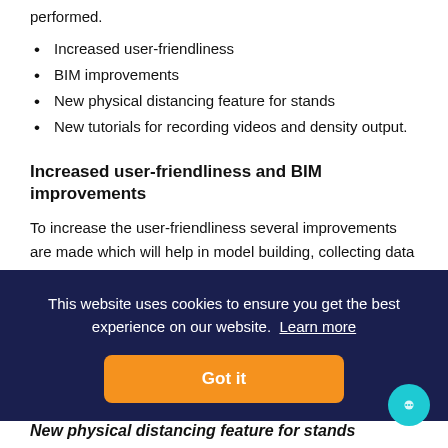performed.
Increased user-friendliness
BIM improvements
New physical distancing feature for stands
New tutorials for recording videos and density output.
Increased user-friendliness and BIM improvements
To increase the user-friendliness several improvements are made which will help in model building, collecting data for an experiment but also
ts
New physical distancing feature for stands